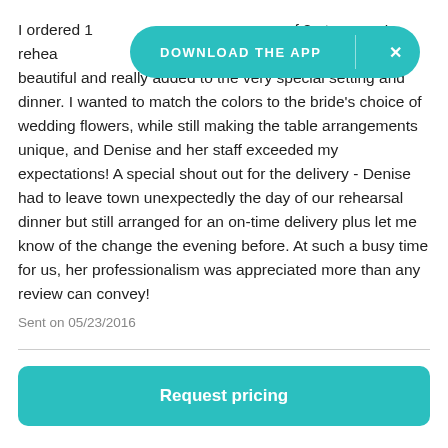I ordered 1[...] of 8 at our son's rehea[...]. The flowers were beautiful and really added to the very special setting and dinner. I wanted to match the colors to the bride's choice of wedding flowers, while still making the table arrangements unique, and Denise and her staff exceeded my expectations! A special shout out for the delivery - Denise had to leave town unexpectedly the day of our rehearsal dinner but still arranged for an on-time delivery plus let me know of the change the evening before. At such a busy time for us, her professionalism was appreciated more than any review can convey!
Sent on 05/23/2016
[Figure (other): DOWNLOAD THE APP banner overlay (teal/turquoise pill-shaped button with X close button)]
Request pricing